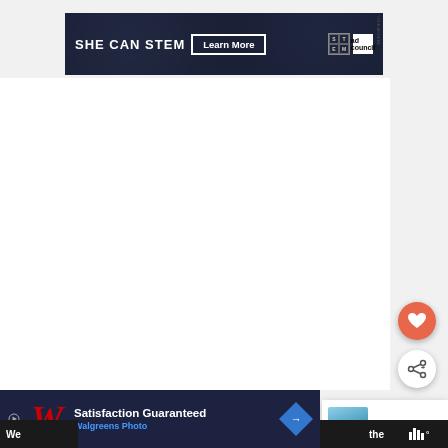[Figure (screenshot): SHE CAN STEM advertisement banner with dark blue/black background. Shows 'SHE CAN STEM' text in bold white, a 'Learn More' button, STEM logo grid, and Ad Council logo.]
[Figure (screenshot): Like button - circular orange/salmon button with white heart icon]
[Figure (screenshot): Share button - circular white button with share/network icon]
[Figure (screenshot): What's Next card showing 'WHAT'S NEXT →' label and 'Ethernet Light Blinks...' title with a thumbnail image]
[Figure (screenshot): Walgreens Photo advertisement banner with dark background, Walgreens logo, 'Satisfaction Guaranteed' text, 'Walgreens Photo' name in blue, and blue diamond navigation icon]